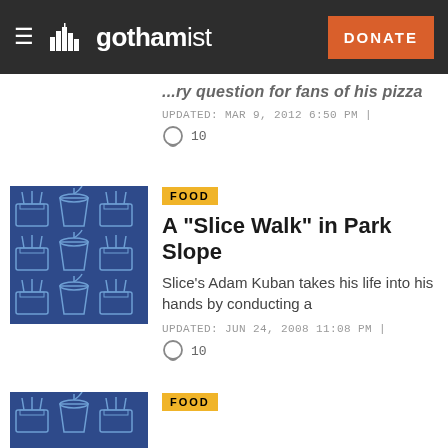gothamist — DONATE
...ry question for fans of his pizza
UPDATED: MAR 9, 2012 6:50 PM | 10 comments
A "Slice Walk" in Park Slope
FOOD
Slice's Adam Kuban takes his life into his hands by conducting a
UPDATED: JUN 24, 2008 11:08 PM | 10 comments
FOOD